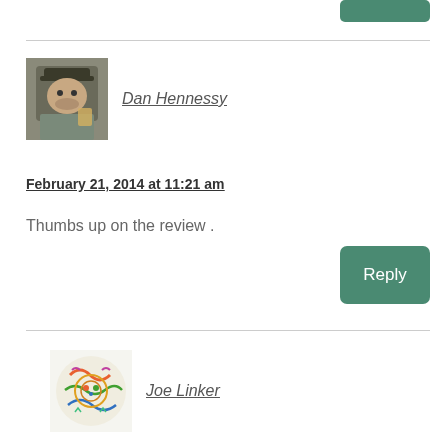[Figure (other): Green reply button (top, cropped)]
[Figure (photo): Avatar photo of Dan Hennessy - man with hat holding a drink]
Dan Hennessy
February 21, 2014 at 11:21 am
Thumbs up on the review .
[Figure (other): Green Reply button]
[Figure (illustration): Avatar illustration of Joe Linker - colorful doodle/cartoon style avatar]
Joe Linker